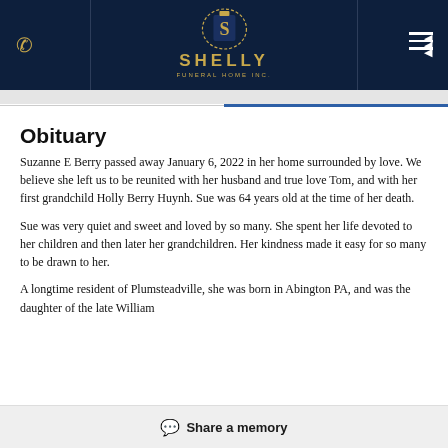Shelly Funeral Home Inc.
Obituary
Suzanne E Berry passed away January 6, 2022 in her home surrounded by love. We believe she left us to be reunited with her husband and true love Tom, and with her first grandchild Holly Berry Huynh. Sue was 64 years old at the time of her death.
Sue was very quiet and sweet and loved by so many. She spent her life devoted to her children and then later her grandchildren. Her kindness made it easy for so many to be drawn to her.
A longtime resident of Plumsteadville, she was born in Abington PA, and was the daughter of the late William
Share a memory